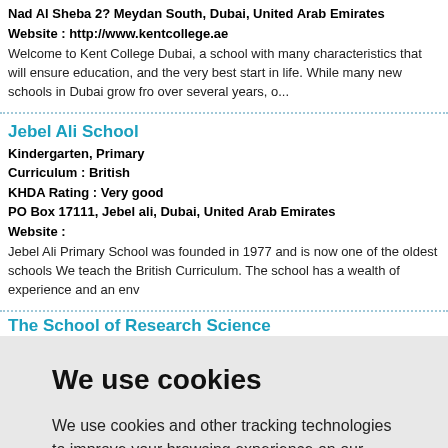Nad Al Sheba 2? Meydan South, Dubai, United Arab Emirates
Website : http://www.kentcollege.ae
Welcome to Kent College Dubai, a school with many characteristics that will ensure education, and the very best start in life. While many new schools in Dubai grow fro over several years, o...
Jebel Ali School
Kindergarten, Primary
Curriculum : British
KHDA Rating : Very good
PO Box 17111, Jebel ali, Dubai, United Arab Emirates
Website :
Jebel Ali Primary School was founded in 1977 and is now one of the oldest schools We teach the British Curriculum. The school has a wealth of experience and an env
The School of Research Science
We use cookies
We use cookies and other tracking technologies to improve your browsing experience on our website, to show you personalized content and targeted ads, to analyze our website traffic, and